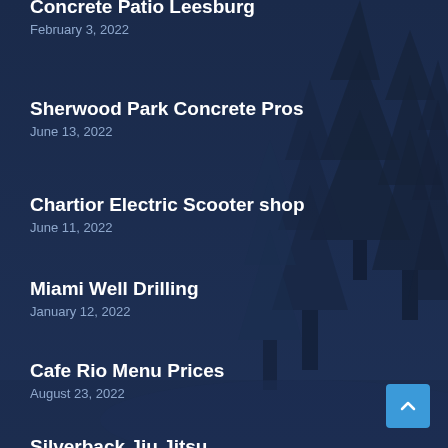Concrete Patio Leesburg
February 3, 2022
Sherwood Park Concrete Pros
June 13, 2022
Chartior Electric Scooter shop
June 11, 2022
Miami Well Drilling
January 12, 2022
Cafe Rio Menu Prices
August 23, 2022
Silverback Jiu Jitsu
March 15, 2022